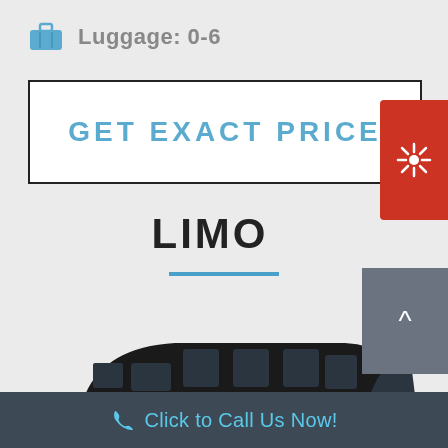Luggage: 0-6
GET EXACT PRICE
LIMO
[Figure (photo): Black stretch limousine photographed from the side on a light background]
Click to Call Us Now!